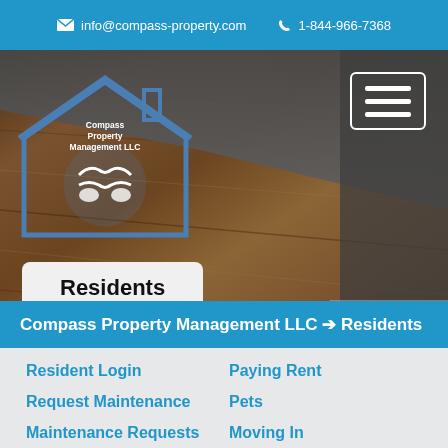info@compass-property.com  1-844-966-7368
[Figure (logo): Compass Property Management LLC logo — house outline with handshake inside, blue tones]
[Figure (photo): Hero background: wood floor interior with dark grey wall panel]
Residents
Compass Property Management LLC ➔ Residents
Resident Login
Paying Rent
Request Maintenance
Pets
Maintenance Requests
Moving In